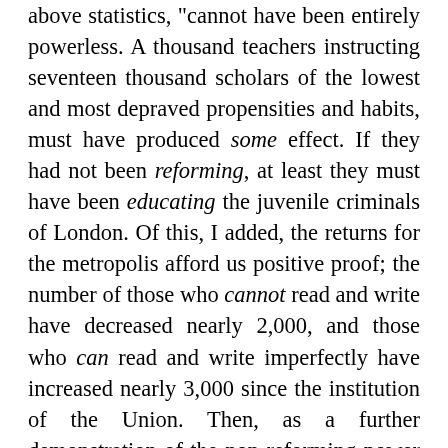above statistics, "cannot have been entirely powerless. A thousand teachers instructing seventeen thousand scholars of the lowest and most depraved propensities and habits, must have produced some effect. If they had not been reforming, at least they must have been educating the juvenile criminals of London. Of this, I added, the returns for the metropolis afford us positive proof; the number of those who cannot read and write have decreased nearly 2,000, and those who can read and write imperfectly have increased nearly 3,000 since the institution of the Union. Then, as a further demonstration of the non-reforming power of such an education as that received at Ragged Schools, I proved by statistical facts that the most highly criminal county is the least ignorant, and that the least criminal county is one of the most ignorant, in England and Wales.